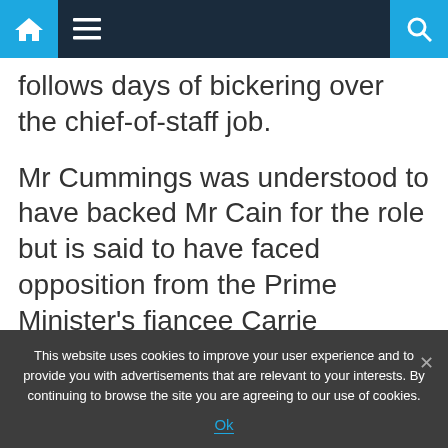Navigation bar with home, menu, and search icons
follows days of bickering over the chief-of-staff job.

Mr Cummings was understood to have backed Mr Cain for the role but is said to have faced opposition from the Prime Minister's fiancee Carrie Symonds and senior ministers.
This website uses cookies to improve your user experience and to provide you with advertisements that are relevant to your interests. By continuing to browse the site you are agreeing to our use of cookies.
Ok